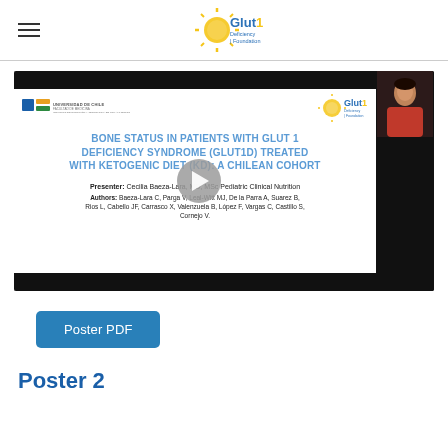Glut1 Deficiency Foundation
[Figure (screenshot): Video thumbnail of a medical presentation slide. Title: BONE STATUS IN PATIENTS WITH GLUT 1 DEFICIENCY SYNDROME (GLUT1D) TREATED WITH KETOGENIC DIET (KD): A CHILEAN COHORT. Presenter: Cecilia Baeza-Lara, MD, MSc Pediatric Clinical Nutrition. Authors: Baeza-Lara C, Parga V, Leal-Witt MJ, De la Parra A, Suarez B, Rios L, Cabello JF, Carrasco X, Valenzuela B, López F, Vargas C, Castillo S, Cornejo V. University of Chile logo and Glut1 Deficiency Foundation logo visible. Play button overlay. Speaker thumbnail in top right.]
Poster PDF
Poster 2